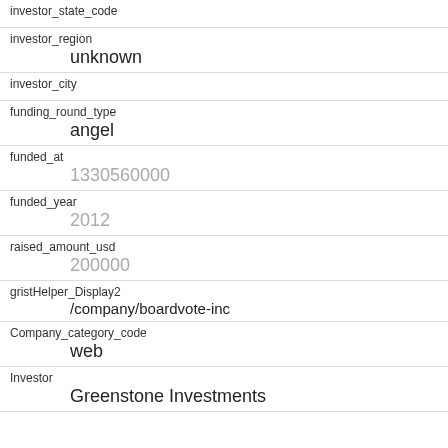| Field | Value |
| --- | --- |
| investor_state_code |  |
| investor_region | unknown |
| investor_city |  |
| funding_round_type | angel |
| funded_at | 1330560000 |
| funded_year | 2012 |
| raised_amount_usd | 200000 |
| gristHelper_Display2 | /company/boardvote-inc |
| Company_category_code | web |
| Investor | Greenstone Investments |